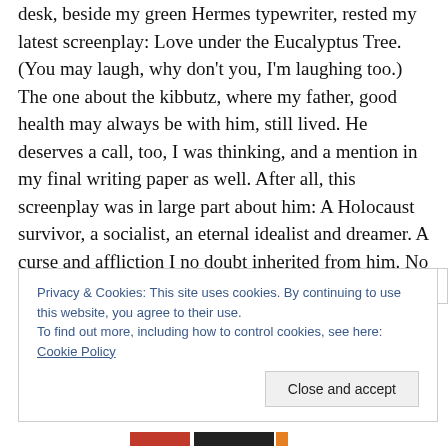desk, beside my green Hermes typewriter, rested my latest screenplay: Love under the Eucalyptus Tree. (You may laugh, why don't you, I'm laughing too.) The one about the kibbutz, where my father, good health may always be with him, still lived. He deserves a call, too, I was thinking, and a mention in my final writing paper as well. After all, this screenplay was in large part about him: A Holocaust survivor, a socialist, an eternal idealist and dreamer. A curse and affliction I no doubt inherited from him. No wonder I turned out so screwed up.
Privacy & Cookies: This site uses cookies. By continuing to use this website, you agree to their use.
To find out more, including how to control cookies, see here: Cookie Policy
Close and accept